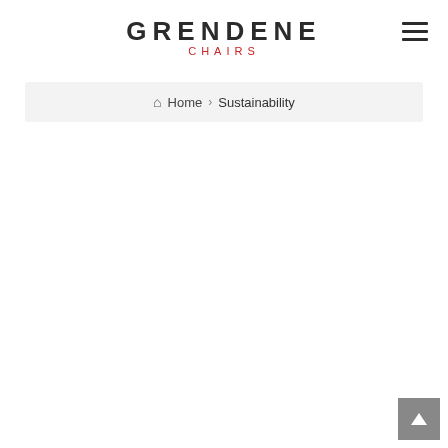[Figure (logo): Grendene Chairs logo with 'GRENDENE' in dark bold uppercase letters and 'CHAIRS' in red smaller uppercase letters below]
[Figure (other): Hamburger menu icon (three horizontal lines) in top right corner]
Home > Sustainability